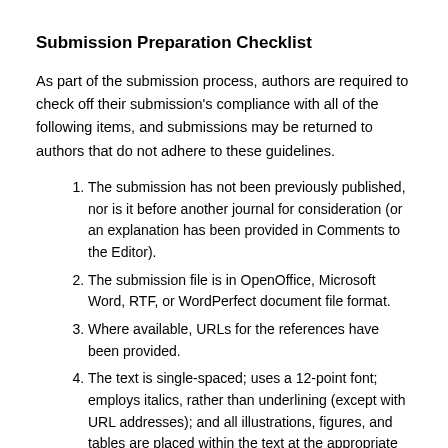Submission Preparation Checklist
As part of the submission process, authors are required to check off their submission's compliance with all of the following items, and submissions may be returned to authors that do not adhere to these guidelines.
The submission has not been previously published, nor is it before another journal for consideration (or an explanation has been provided in Comments to the Editor).
The submission file is in OpenOffice, Microsoft Word, RTF, or WordPerfect document file format.
Where available, URLs for the references have been provided.
The text is single-spaced; uses a 12-point font; employs italics, rather than underlining (except with URL addresses); and all illustrations, figures, and tables are placed within the text at the appropriate points, rather